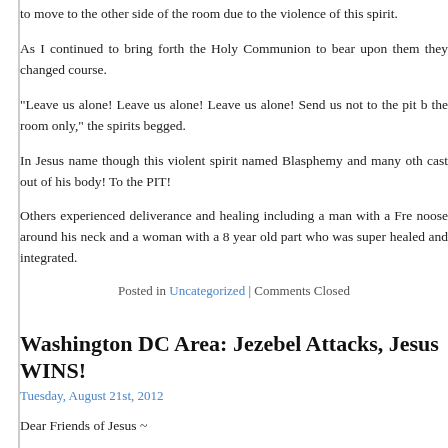to move to the other side of the room due to the violence of this spirit.
As I continued to bring forth the Holy Communion to bear upon them they changed course.
“Leave us alone! Leave us alone! Leave us alone! Send us not to the pit b the room only,” the spirits begged.
In Jesus name though this violent spirit named Blasphemy and many oth cast out of his body! To the PIT!
Others experienced deliverance and healing including a man with a Fr noose around his neck and a woman with a 8 year old part who was super healed and integrated.
Posted in Uncategorized | Comments Closed
Washington DC Area: Jezebel Attacks, Jesus WINS!
Tuesday, August 21st, 2012
Dear Friends of Jesus ~
I have arrived safely back from my most recent mission where God d His miraculous power in our midst.
On Friday I traveled to Baltimore, Maryland, through Washington DC to Alexandria, Virginia, where I conducted a public deliveranc